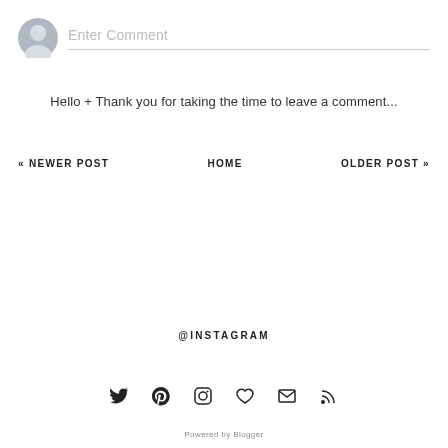[Figure (illustration): Comment input area with a grey avatar icon on the left and 'Enter Comment' placeholder text with a horizontal line below]
Hello + Thank you for taking the time to leave a comment...
« NEWER POST    HOME    OLDER POST »
@INSTAGRAM
[Figure (illustration): Row of social media icons: Twitter, Pinterest, Instagram, Heart/Bloglovin, Email, RSS]
Powered by Blogger